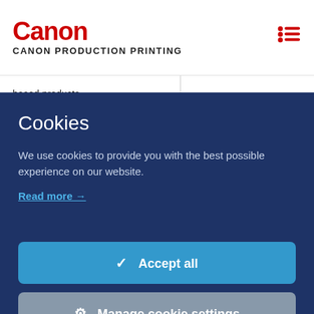Canon CANON PRODUCTION PRINTING
based products_
Cookies
We use cookies to provide you with the best possible experience on our website.
Read more →
✓ Accept all
⚙ Manage cookie settings
Tablet for VPi300 series and VPiX series
Not impacted